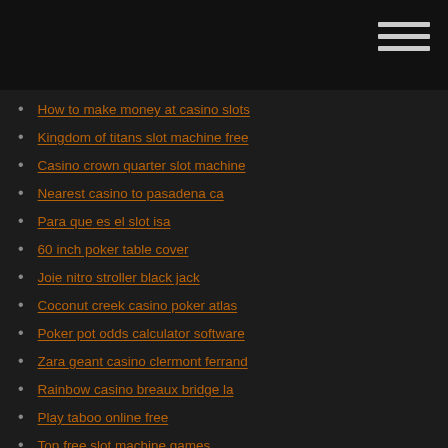How to make money at casino slots
Kingdom of titans slot machine free
Casino crown quarter slot machine
Nearest casino to pasadena ca
Para que es el slot isa
60 inch poker table cover
Joie nitro stroller black jack
Coconut creek casino poker atlas
Poker pot odds calculator software
Zara geant casino clermont ferrand
Rainbow casino breaux bridge la
Play taboo online free
Top free slot machine games
Free online poker no gambling